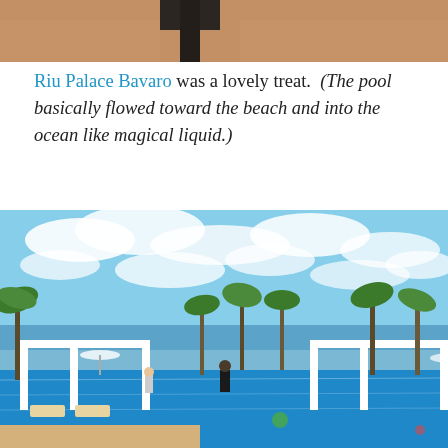[Figure (photo): Partial photo at top of page showing what appears to be a close-up of skin/leg near a dark object, cropped view]
Riu Palace Bavaro was a lovely treat.  (The pool basically flowed toward the beach and into the ocean like magical liquid.)
[Figure (photo): Outdoor photo of the Riu Palace Bavaro resort pool area with blue water, white pergola structures, palm trees, guests, and a bright partly cloudy sky in the background overlooking the ocean]